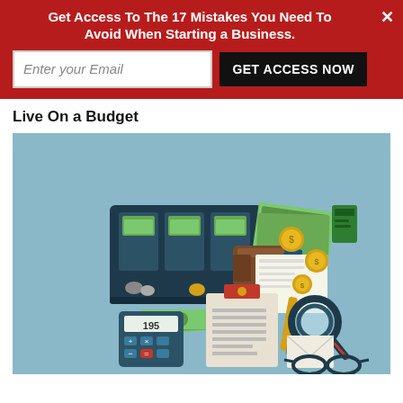Get Access To The 17 Mistakes You Need To Avoid When Starting a Business.
Live On a Budget
[Figure (illustration): Budget illustration showing a cash register with money slots, dollar bills, coins, wallet, receipt/documents, clipboard with checklist, pen, calculator showing 195, magnifying glass, envelope, and glasses on a light blue background.]